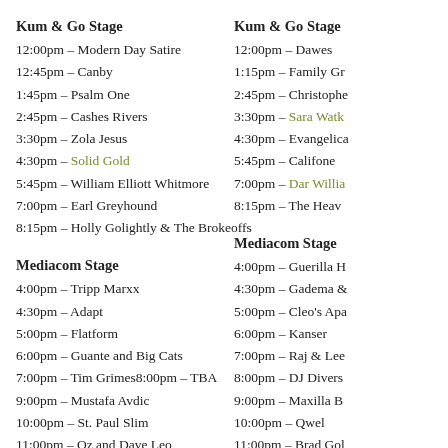Kum & Go Stage
12:00pm – Modern Day Satire
12:45pm – Canby
1:45pm – Psalm One
2:45pm – Cashes Rivers
3:30pm – Zola Jesus
4:30pm – Solid Gold
5:45pm – William Elliott Whitmore
7:00pm – Earl Greyhound
8:15pm – Holly Golightly & The Brokeoffs
Mediacom Stage
4:00pm – Tripp Marxx
4:30pm – Adapt
5:00pm – Flatform
6:00pm – Guante and Big Cats
7:00pm – Tim Grimes8:00pm – TBA
9:00pm – Mustafa Avdic
10:00pm – St. Paul Slim
11:00pm – Oz and Dave Leo
Kum & Go Stage
12:00pm – Dawes
1:15pm – Family Gr…
2:45pm – Christophe…
3:30pm – Sara Watk…
4:30pm – Evangelica…
5:45pm – Califone
7:00pm – Dar Willia…
8:15pm – The Heav…
Mediacom Stage
4:00pm – Guerilla H…
4:30pm – Gadema &…
5:00pm – Cleo's Apa…
6:00pm – Kanser
7:00pm – Raj & Lee…
8:00pm – DJ Divers…
9:00pm – Maxilla B…
10:00pm – Qwel
11:00pm – Brad Gol…